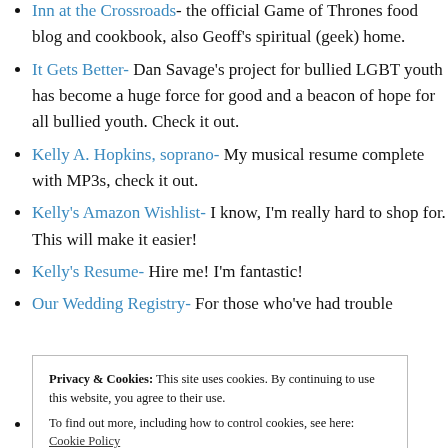Inn at the Crossroads- the official Game of Thrones food blog and cookbook, also Geoff's spiritual (geek) home.
It Gets Better- Dan Savage's project for bullied LGBT youth has become a huge force for good and a beacon of hope for all bullied youth. Check it out.
Kelly A. Hopkins, soprano- My musical resume complete with MP3s, check it out.
Kelly's Amazon Wishlist- I know, I'm really hard to shop for. This will make it easier!
Kelly's Resume- Hire me! I'm fantastic!
Our Wedding Registry- For those who've had trouble
Privacy & Cookies: This site uses cookies. By continuing to use this website, you agree to their use. To find out more, including how to control cookies, see here: Cookie Policy
Schneier on Security- Where the term "Security